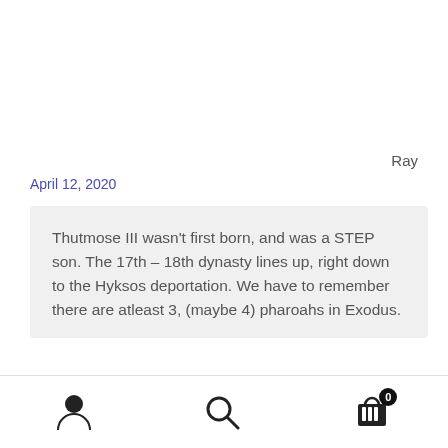Ray
April 12, 2020
Thutmose III wasn't first born, and was a STEP son. The 17th – 18th dynasty lines up, right down to the Hyksos deportation. We have to remember there are atleast 3, (maybe 4) pharoahs in Exodus.
16th Dynasty – Abraham in Egypt